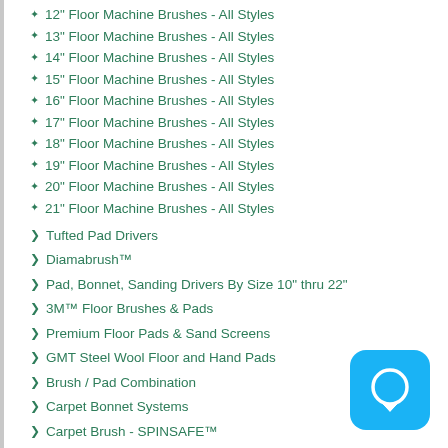12" Floor Machine Brushes - All Styles
13" Floor Machine Brushes - All Styles
14" Floor Machine Brushes - All Styles
15" Floor Machine Brushes - All Styles
16" Floor Machine Brushes - All Styles
17" Floor Machine Brushes - All Styles
18" Floor Machine Brushes - All Styles
19" Floor Machine Brushes - All Styles
20" Floor Machine Brushes - All Styles
21" Floor Machine Brushes - All Styles
Tufted Pad Drivers
Diamabrush™
Pad, Bonnet, Sanding Drivers By Size 10" thru 22"
3M™ Floor Brushes & Pads
Premium Floor Pads & Sand Screens
GMT Steel Wool Floor and Hand Pads
Brush / Pad Combination
Carpet Bonnet Systems
Carpet Brush - SPINSAFE™
[Figure (illustration): Blue rounded square chat bubble icon in bottom right corner]